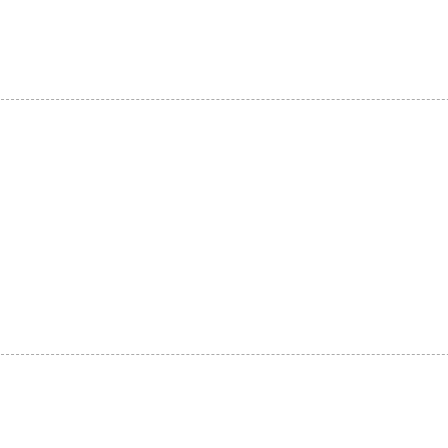Minnesota @ CHW: Over …
STL @ Atlanta: Over 9 (-11…
Miami @ Washington: Was…
Picks for 07/03/2022
STL @ Philadelphia: Phila…
Oakland @ Seattle: Over 6…
SD @ LA: LA -1.5 (+110) -…
NYY @ Cleveland: Clevelan…
Texas @ NYM: Over 8.5 (+…
Miami @ Washington: Was…
Picks for 07/02/2022
Arizona @ Colorado: Color…
NYY @ Cleveland: Clevelan…
Atlanta @ Cincinnati: Cinci…
KC @ Detroit: Under 8.5 (+…
Miami @ Washington: Und…
Picks for 07/01/2022
CHW @ SF: CHW +132 - R…
Oakland @ Seattle: Seattle…
SD @ LA: Over 7.5 (-105) -…
Miami @ Washington: Ove…
TB @ Toronto: Under 9 (-10…
Picks for 06/30/2022